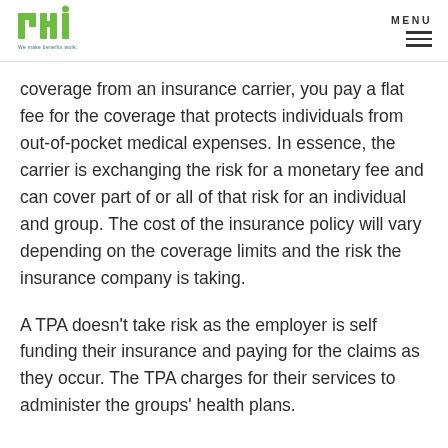PAI logo and MENU
coverage from an insurance carrier, you pay a flat fee for the coverage that protects individuals from out-of-pocket medical expenses. In essence, the carrier is exchanging the risk for a monetary fee and can cover part of or all of that risk for an individual and group. The cost of the insurance policy will vary depending on the coverage limits and the risk the insurance company is taking.
A TPA doesn't take risk as the employer is self funding their insurance and paying for the claims as they occur. The TPA charges for their services to administer the groups' health plans.